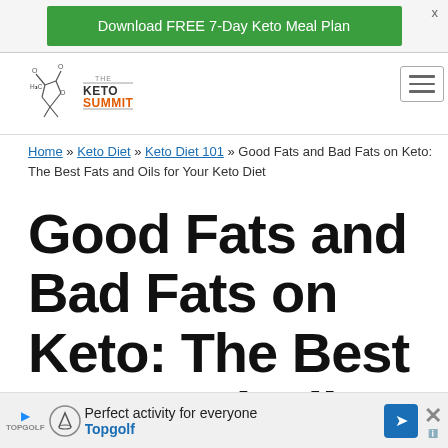[Figure (infographic): Green banner ad: 'Download FREE 7-Day Keto Meal Plan']
[Figure (logo): The Keto Summit logo with chemical structure icon and wordmark]
Home » Keto Diet » Keto Diet 101 » Good Fats and Bad Fats on Keto: The Best Fats and Oils for Your Keto Diet
Good Fats and Bad Fats on Keto: The Best Fats and Oils for Your Keto Diet
[Figure (infographic): Bottom ad banner: 'Perfect activity for everyone - Topgolf']